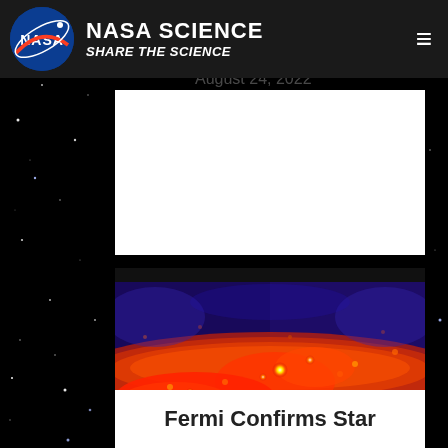NASA SCIENCE SHARE THE SCIENCE
Ambassadors
August 24, 2022
[Figure (photo): Fermi gamma-ray sky map showing bright red and orange emission along the galactic plane against a blue background, with point sources visible as bright spots]
Fermi Confirms Star